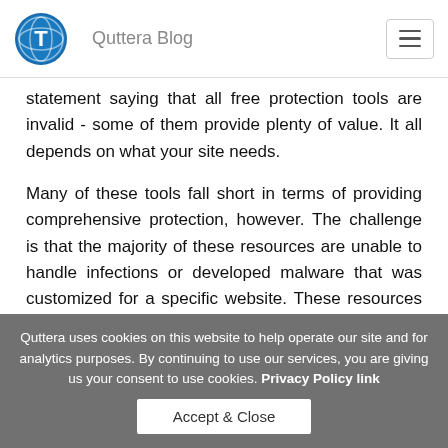Quttera Blog
statement saying that all free protection tools are invalid - some of them provide plenty of value. It all depends on what your site needs.
Many of these tools fall short in terms of providing comprehensive protection, however. The challenge is that the majority of these resources are unable to handle infections or developed malware that was customized for a specific website. These resources often lack the tooling, complexity, and sophistication needed to handle tailored problems.
Additionally, free protection tools often come with no online
Quttera uses cookies on this website to help operate our site and for analytics purposes. By continuing to use our services, you are giving us your consent to use cookies. Privacy Policy link